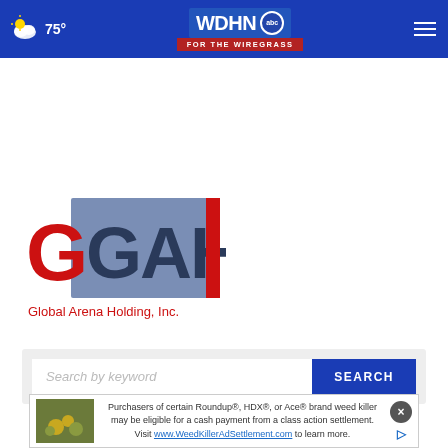WDHN ABC FOR THE WIREGRASS — 75°
[Figure (logo): Global Arena Holding, Inc. (GAH) logo — red G letter, blue-gray square with dark GAH letters, and red text 'Global Arena Holding, Inc.']
[Figure (screenshot): Search by keyword input box with blue SEARCH button]
[Figure (other): Advertisement banner: Purchasers of certain Roundup®, HDX®, or Ace® brand weed killer may be eligible for a cash payment from a class action settlement. Visit www.WeedKillerAdSettlement.com to learn more.]